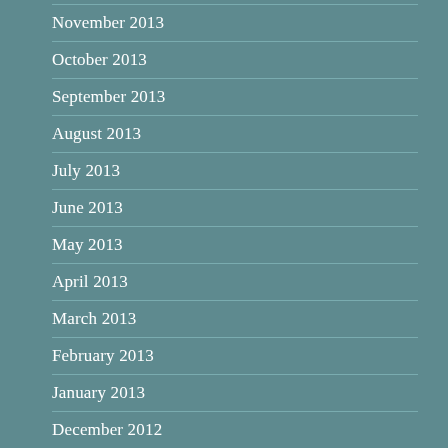November 2013
October 2013
September 2013
August 2013
July 2013
June 2013
May 2013
April 2013
March 2013
February 2013
January 2013
December 2012
November 2012